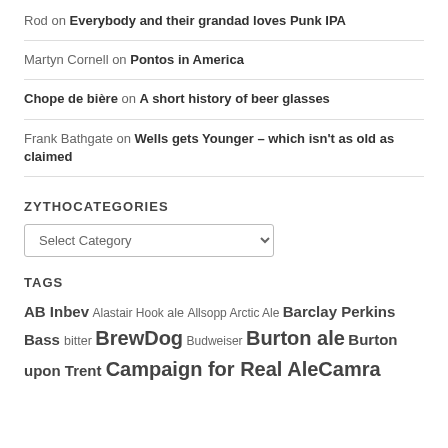Rod on Everybody and their grandad loves Punk IPA
Martyn Cornell on Pontos in America
Chope de bière on A short history of beer glasses
Frank Bathgate on Wells gets Younger – which isn't as old as claimed
ZYTHOCATEGORIES
Select Category
TAGS
AB Inbev Alastair Hook ale Allsopp Arctic Ale Barclay Perkins Bass bitter BrewDog Budweiser Burton ale Burton upon Trent Campaign for Real Ale Camra